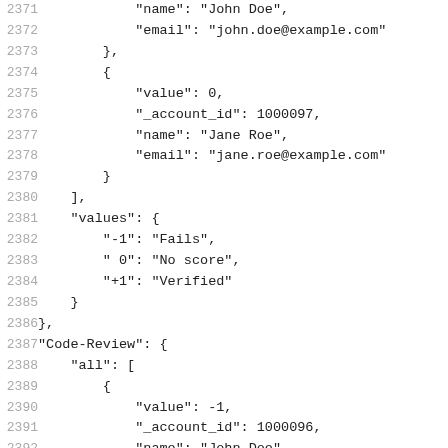Code block showing JSON structure with line numbers 2371-2392